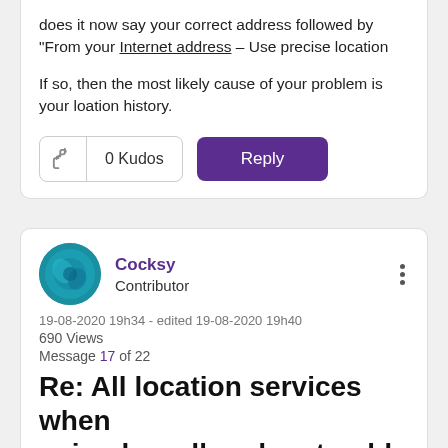does it now say your correct address followed by "From your Internet address – Use precise location
If so, then the most likely cause of your problem is your loation history.
0 Kudos
Reply
Cocksy
Contributor
19-08-2020 19h34 - edited 19-08-2020 19h40
690 Views
Message 17 of 22
Re: All location services when using broadband go to old